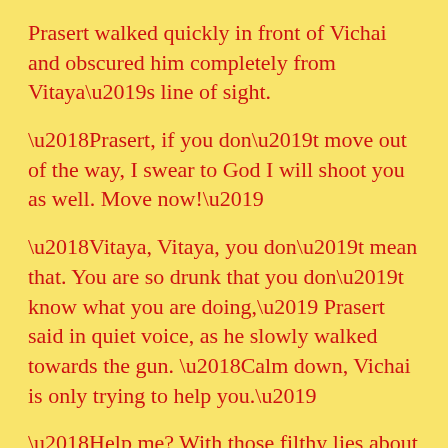Prasert walked quickly in front of Vichai and obscured him completely from Vitaya’s line of sight.
‘Prasert, if you don’t move out of the way, I swear to God I will shoot you as well. Move now!’
‘Vitaya, Vitaya, you don’t mean that. You are so drunk that you don’t know what you are doing,’ Prasert said in quiet voice, as he slowly walked towards the gun. ‘Calm down, Vichai is only trying to help you.’
‘Help me? With those filthy lies about my wife!’